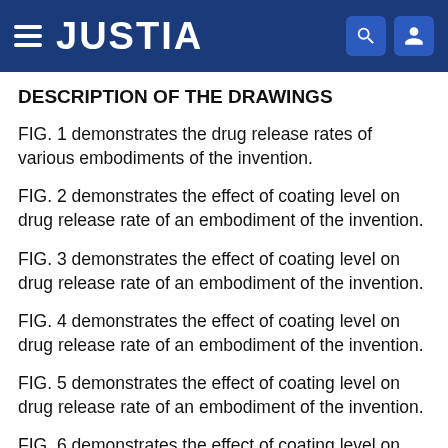JUSTIA
DESCRIPTION OF THE DRAWINGS
FIG. 1 demonstrates the drug release rates of various embodiments of the invention.
FIG. 2 demonstrates the effect of coating level on drug release rate of an embodiment of the invention.
FIG. 3 demonstrates the effect of coating level on drug release rate of an embodiment of the invention.
FIG. 4 demonstrates the effect of coating level on drug release rate of an embodiment of the invention.
FIG. 5 demonstrates the effect of coating level on drug release rate of an embodiment of the invention.
FIG. 6 demonstrates the effect of coating level on drug release rate of an embodiment of the invention.